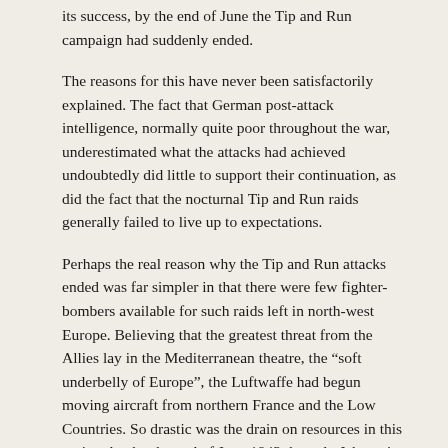its success, by the end of June the Tip and Run campaign had suddenly ended.
The reasons for this have never been satisfactorily explained. The fact that German post-attack intelligence, normally quite poor throughout the war, underestimated what the attacks had achieved undoubtedly did little to support their continuation, as did the fact that the nocturnal Tip and Run raids generally failed to live up to expectations.
Perhaps the real reason why the Tip and Run attacks ended was far simpler in that there were few fighter-bombers available for such raids left in north-west Europe. Believing that the greatest threat from the Allies lay in the Mediterranean theatre, the “soft underbelly of Europe”, the Luftwaffe had begun moving aircraft from northern France and the Low Countries. So drastic was the drain on resources in this region that by the end of June 1943 the only Jabo unit